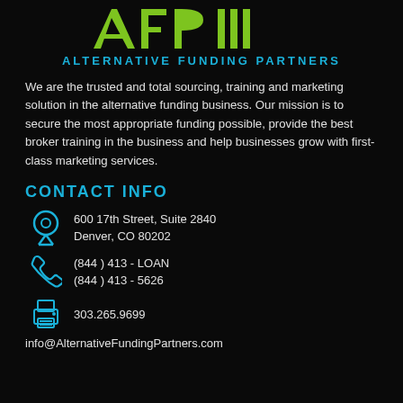[Figure (logo): Alternative Funding Partners logo: stylized AFP letters in green above the text ALTERNATIVE FUNDING PARTNERS in blue]
We are the trusted and total sourcing, training and marketing solution in the alternative funding business. Our mission is to secure the most appropriate funding possible, provide the best broker training in the business and help businesses grow with first-class marketing services.
CONTACT INFO
600 17th Street, Suite 2840
Denver, CO 80202
(844 ) 413 - LOAN
(844 ) 413 - 5626
303.265.9699
info@AlternativeFundingPartners.com